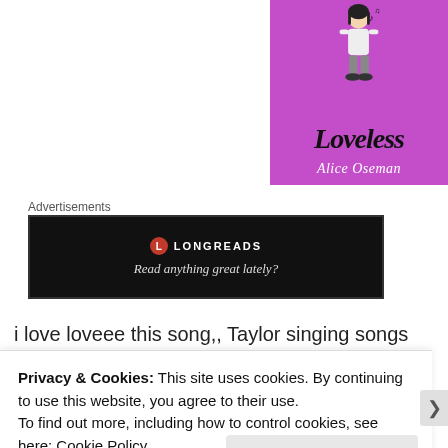[Figure (illustration): Book cover of 'Loveless' by Alice Oseman. Purple background with an illustrated figure of a person standing. Title 'Loveless' in large bold italic black text, author name 'Alice Oseman' in white italic script below.]
Advertisements
[Figure (other): Longreads advertisement banner. Black background with Longreads logo (red circle with L) and text 'LONGREADS' and tagline 'Read anything great lately?']
i love loveee this song,, Taylor singing songs
Privacy & Cookies: This site uses cookies. By continuing to use this website, you agree to their use.
To find out more, including how to control cookies, see here: Cookie Policy
Close and accept